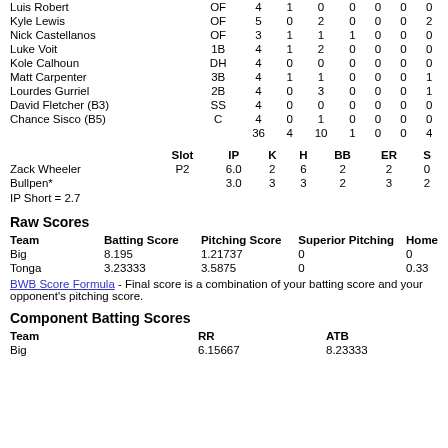| Player | Pos | AB | R | H | HR | RBI | BB | SB |
| --- | --- | --- | --- | --- | --- | --- | --- | --- |
| Luis Robert | OF | 4 | 1 | 0 | 0 | 0 | 0 | 0 |
| Kyle Lewis | OF | 5 | 0 | 2 | 0 | 0 | 0 | 2 |
| Nick Castellanos | OF | 3 | 1 | 1 | 1 | 0 | 0 | 0 |
| Luke Voit | 1B | 4 | 1 | 2 | 0 | 0 | 0 | 0 |
| Kole Calhoun | DH | 4 | 0 | 0 | 0 | 0 | 0 | 0 |
| Matt Carpenter | 3B | 4 | 1 | 1 | 0 | 0 | 0 | 1 |
| Lourdes Gurriel | 2B | 4 | 0 | 3 | 0 | 0 | 0 | 1 |
| David Fletcher (B3) | SS | 4 | 0 | 0 | 0 | 0 | 0 | 0 |
| Chance Sisco (B5) | C | 4 | 0 | 1 | 0 | 0 | 0 | 0 |
|  |  | 36 | 4 | 10 | 1 | 0 | 0 | 4 |
| Pitcher | Slot | IP | K | H | BB | ER | S |
| --- | --- | --- | --- | --- | --- | --- | --- |
| Zack Wheeler | P2 | 6.0 | 2 | 6 | 2 | 2 | 0 |
| Bullpen* |  | 3.0 | 3 | 3 | 2 | 3 | 2 |
IP Short = 2.7
Raw Scores
| Team | Batting Score | Pitching Score | Superior Pitching | Home |
| --- | --- | --- | --- | --- |
| Big | 8.195 | 1.21737 | 0 | 0 |
| Tonga | 3.23333 | 3.5875 | 0 | 0.33 |
BWB Score Formula - Final score is a combination of your batting score and your opponent's pitching score.
Component Batting Scores
| Team | RR | ATB |
| --- | --- | --- |
| Big | 6.15667 | 8.23333 |